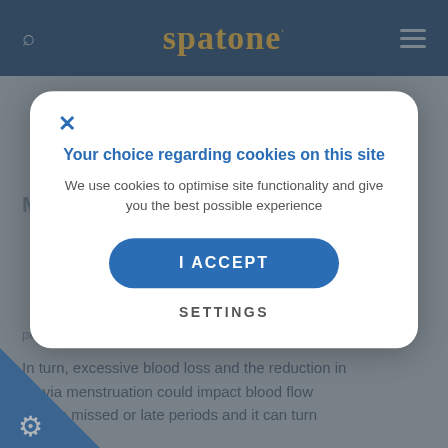spatone
Menstruation
Your choice regarding cookies on this site
We use cookies to optimise site functionality and give you the best possible experience
I ACCEPT
SETTINGS
periods.
In turn, excessive blood loss and the reduction in on via menstruation could impact blood flow lead to missed or late periods and it can turn